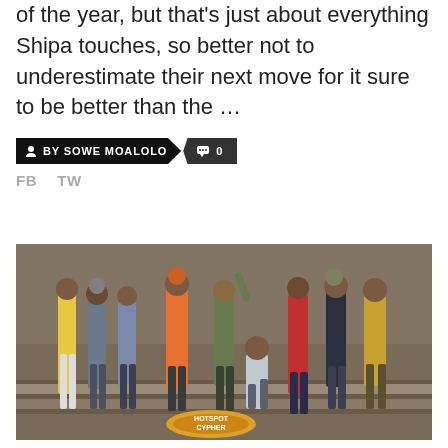of the year, but that's just about everything Shipa touches, so better not to underestimate their next move for it sure to be better than the …
BY SOWE MOALOLO   0
FB  TW
[Figure (photo): Group photo of approximately 9 hip-hop artists posing together outdoors on what appears to be steps or a platform. One person is crouching in the front center. Several wear colorful streetwear including yellow jacket, orange hoodie, camouflage. A Hotspot Cypher logo/badge is visible in the foreground.]